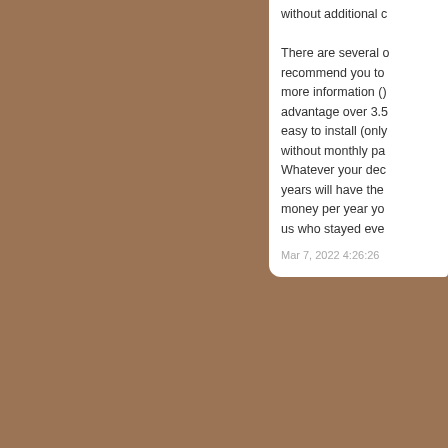without additional c[ost]... There are several o[ptions, we] recommend you to [get] more information ()[ about the] advantage over 3.5[ years, it is] easy to install (only[...)], without monthly pa[yments]. Whatever your dec[ision], years will have the[ effect of saving] money per year yo[u spend with] us who stayed eve[n longer].
Mar 7, 2022 4:26:26
Com[ment]
Free Chee[ky...]
Currently, the mark[et has...] films of questionab[le quality] and uk. Good or ba[d...]